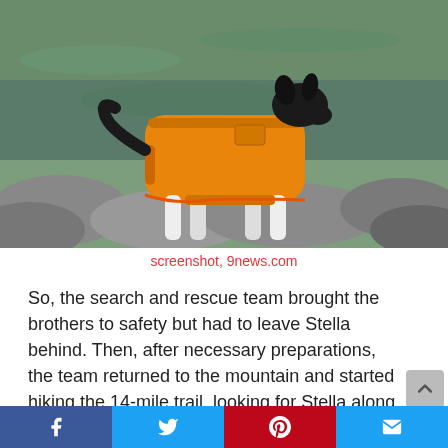[Figure (photo): A black and white dog wearing an orange/yellow rain jacket or coat, standing on rocks near water]
screenshot, 9news.com
So, the search and rescue team brought the brothers to safety but had to leave Stella behind. Then, after necessary preparations, the team returned to the mountain and started hiking the 14-mile trail, looking for Stella along the way.